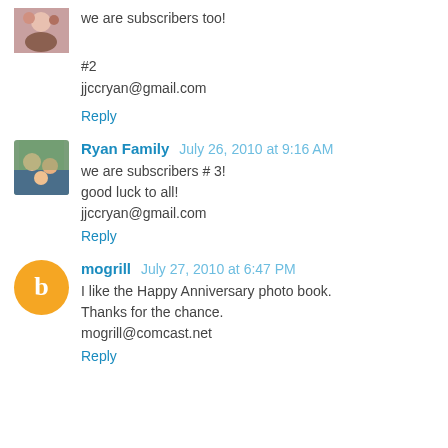we are subscribers too!
#2
jjccryan@gmail.com
Reply
Ryan Family  July 26, 2010 at 9:16 AM
we are subscribers # 3!
good luck to all!
jjccryan@gmail.com
Reply
mogrill  July 27, 2010 at 6:47 PM
I like the Happy Anniversary photo book.
Thanks for the chance.
mogrill@comcast.net
Reply